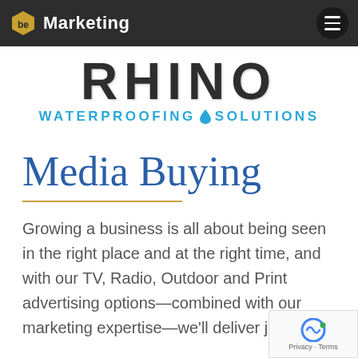be Marketing (navigation bar with logo and hamburger menu)
[Figure (logo): Rhino Waterproofing Solutions logo with large stylized RHINO text and cyan subtitle WATERPROOFING drop SOLUTIONS]
Media Buying
Growing a business is all about being seen in the right place and at the right time, and with our TV, Radio, Outdoor and Print advertising options—combined with our marketing expertise—we'll deliver just